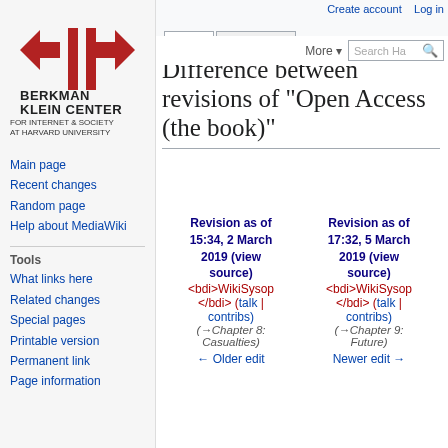Create account  Log in
[Figure (logo): Berkman Klein Center for Internet & Society at Harvard University logo — red arrows and vertical bars with organization name below]
Main page
Recent changes
Random page
Help about MediaWiki
Tools
What links here
Related changes
Special pages
Printable version
Permanent link
Page information
Difference between revisions of "Open Access (the book)"
| Revision as of 15:34, 2 March 2019 (view source) | Revision as of 17:32, 5 March 2019 (view source) |
| --- | --- |
| <bdi>WikiSysop</bdi> (talk | contribs) | <bdi>WikiSysop</bdi> (talk | contribs) |
| (→Chapter 8: Casualties) | (→Chapter 9: Future) |
| ← Older edit | Newer edit → |